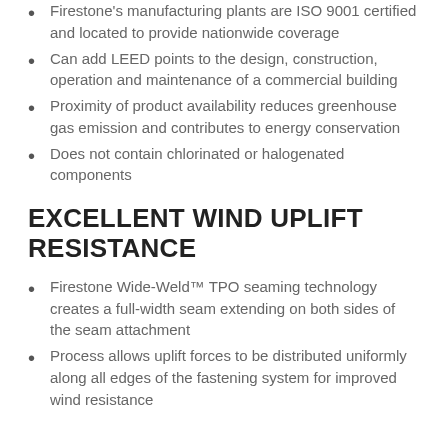Firestone's manufacturing plants are ISO 9001 certified and located to provide nationwide coverage
Can add LEED points to the design, construction, operation and maintenance of a commercial building
Proximity of product availability reduces greenhouse gas emission and contributes to energy conservation
Does not contain chlorinated or halogenated components
EXCELLENT WIND UPLIFT RESISTANCE
Firestone Wide-Weld™ TPO seaming technology creates a full-width seam extending on both sides of the seam attachment
​Process allows uplift forces to be distributed uniformly along all edges of the fastening system for improved wind resistance